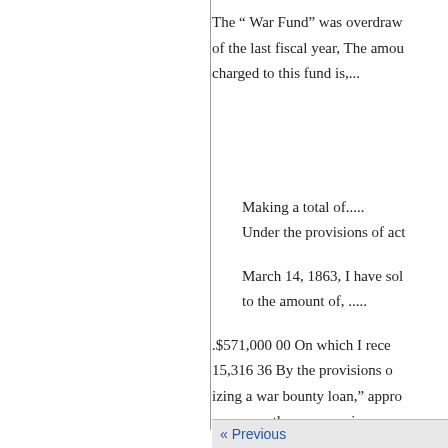The “ War Fund” was overdraw of the last fiscal year, The amount charged to this fund is,...
Making a total of.....
Under the provisions of act
March 14, 1863, I have sold to the amount of, .....
.$571,000 00 On which I rece
15,316 36 By the provisions of
izing a war bounty loan,” appro purposes, the money aris
« Previous